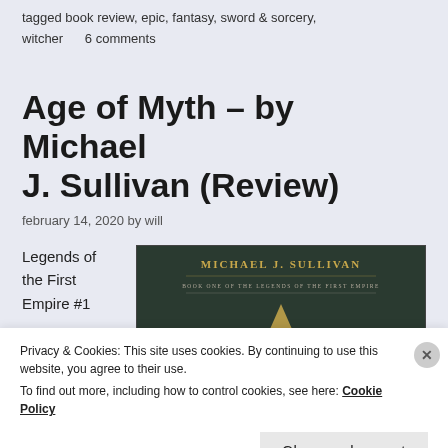tagged book review, epic, fantasy, sword & sorcery, witcher    6 comments
Age of Myth – by Michael J. Sullivan (Review)
february 14, 2020 by will
Legends of the First Empire #1
[Figure (photo): Book cover of Age of Myth by Michael J. Sullivan, Book One of the Legends of the First Empire. Dark green background with gold author name text and subtitle text, with a gold arrow/triangle design element.]
Privacy & Cookies: This site uses cookies. By continuing to use this website, you agree to their use.
To find out more, including how to control cookies, see here: Cookie Policy
Close and accept